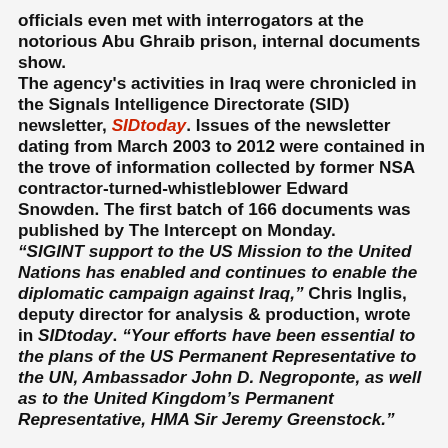officials even met with interrogators at the notorious Abu Ghraib prison, internal documents show.
The agency's activities in Iraq were chronicled in the Signals Intelligence Directorate (SID) newsletter, SIDtoday. Issues of the newsletter dating from March 2003 to 2012 were contained in the trove of information collected by former NSA contractor-turned-whistleblower Edward Snowden. The first batch of 166 documents was published by The Intercept on Monday.
“SIGINT support to the US Mission to the United Nations has enabled and continues to enable the diplomatic campaign against Iraq,” Chris Inglis, deputy director for analysis & production, wrote in SIDtoday. “Your efforts have been essential to the plans of the US Permanent Representative to the UN, Ambassador John D. Negroponte, as well as to the United Kingdom’s Permanent Representative, HMA Sir Jeremy Greenstock.”